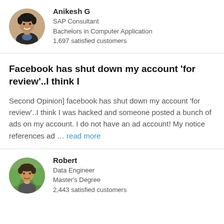[Figure (photo): Circular profile photo of Anikesh G, a man smiling in a dark jacket]
Anikesh G
SAP Consultant
Bachelors in Computer Application
1,697 satisfied customers
Facebook has shut down my account 'for review'..I think I
Second Opinion] facebook has shut down my account 'for review'..I think I was hacked and someone posted a bunch of ads on my account. I do not have an ad account! My notice references ad … read more
[Figure (photo): Circular profile photo of Robert, a man with short hair outdoors]
Robert
Data Engineer
Master's Degree
2,443 satisfied customers